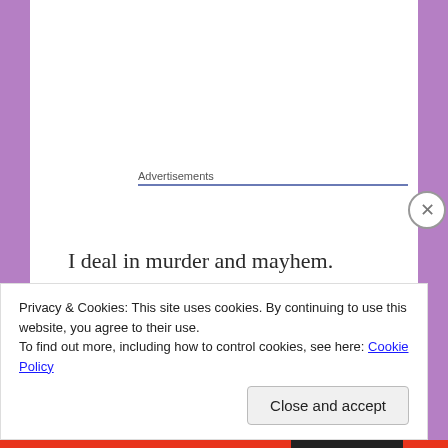Advertisements
I deal in murder and mayhem.
I'm the best at what I do.
Frankie Helburn is supposed to be an easy job.
A means to flush her father out of hiding.
Simple.
Privacy & Cookies: This site uses cookies. By continuing to use this website, you agree to their use.
To find out more, including how to control cookies, see here: Cookie Policy